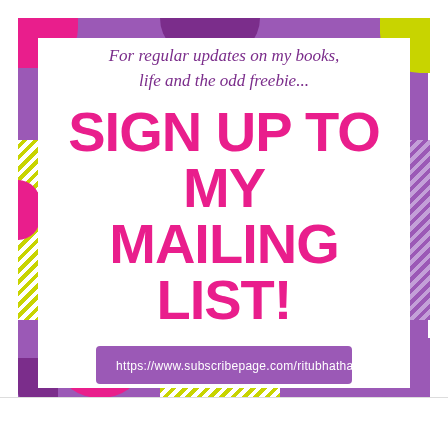[Figure (illustration): Colorful promotional graphic with purple border, decorative blobs in pink, lime green, and purple, diagonal stripe patterns on sides and bottom.]
For regular updates on my books, life and the odd freebie...
SIGN UP TO MY MAILING LIST!
https://www.subscribepage.com/ritubhathal